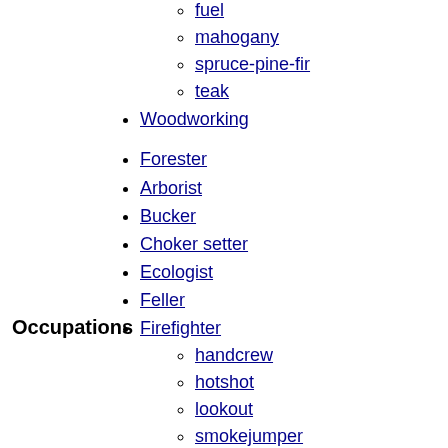fuel
mahogany
spruce-pine-fir
teak
Woodworking
Forester
Arborist
Bucker
Choker setter
Ecologist
Feller
Firefighter
handcrew
hotshot
lookout
smokejumper
River driver
Truck driver
Log scaler
Lumberjack
Ranger
Resin tapper
Rubber tapper
Shingle weaver
Occupations